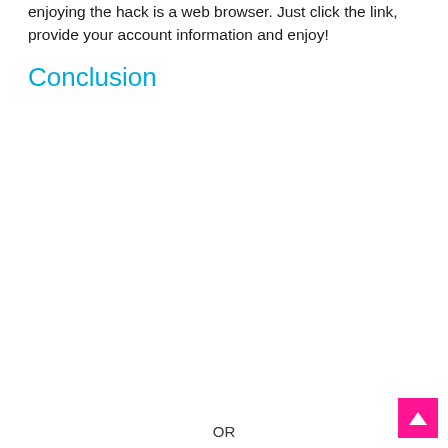enjoying the hack is a web browser. Just click the link, provide your account information and enjoy!
Conclusion
OR